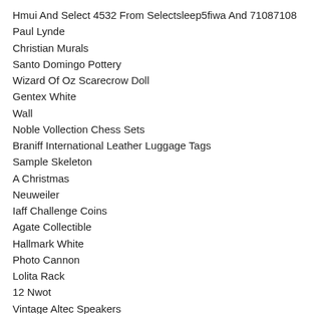Hmui And Select 4532 From Selectsleep5fiwa And 71087108
Paul Lynde
Christian Murals
Santo Domingo Pottery
Wizard Of Oz Scarecrow Doll
Gentex White
Wall
Noble Vollection Chess Sets
Braniff International Leather Luggage Tags
Sample Skeleton
A Christmas
Neuweiler
Iaff Challenge Coins
Agate Collectible
Hallmark White
Photo Cannon
Lolita Rack
12 Nwot
Vintage Altec Speakers
Apple Juice Bakelite
Batman Lithograph
Vintage Ge Clock